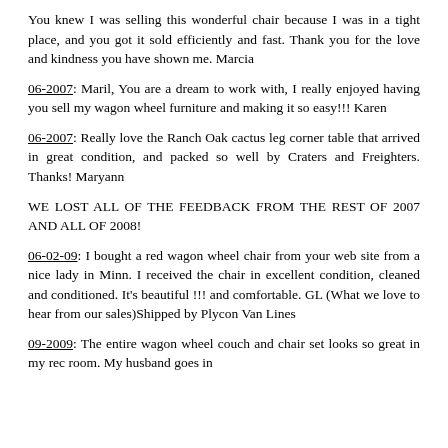You knew I was selling this wonderful chair because I was in a tight place, and you got it sold efficiently and fast. Thank you for the love and kindness you have shown me. Marcia
06-2007: Maril, You are a dream to work with, I really enjoyed having you sell my wagon wheel furniture and making it so easy!!! Karen
06-2007: Really love the Ranch Oak cactus leg corner table that arrived in great condition, and packed so well by Craters and Freighters. Thanks! Maryann
WE LOST ALL OF THE FEEDBACK FROM THE REST OF 2007 AND ALL OF 2008!
06-02-09: I bought a red wagon wheel chair from your web site from a nice lady in Minn. I received the chair in excellent condition, cleaned and conditioned. It's beautiful !!! and comfortable. GL (What we love to hear from our sales)Shipped by Plycon Van Lines
09-2009: The entire wagon wheel couch and chair set looks so great in my rec room. My husband goes in